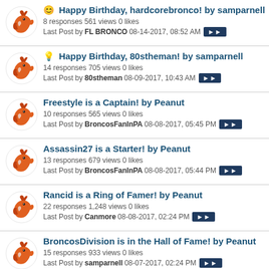😊 Happy Birthday, hardcorebronco! by samparnell
8 responses 561 views 0 likes
Last Post by FL BRONCO 08-14-2017, 08:52 AM
💡 Happy Birthday, 80stheman! by samparnell
14 responses 705 views 0 likes
Last Post by 80stheman 08-09-2017, 10:43 AM
Freestyle is a Captain! by Peanut
10 responses 565 views 0 likes
Last Post by BroncosFanInPA 08-08-2017, 05:45 PM
Assassin27 is a Starter! by Peanut
13 responses 679 views 0 likes
Last Post by BroncosFanInPA 08-08-2017, 05:44 PM
Rancid is a Ring of Famer! by Peanut
22 responses 1,248 views 0 likes
Last Post by Canmore 08-08-2017, 02:24 PM
BroncosDivision is in the Hall of Fame! by Peanut
15 responses 933 views 0 likes
Last Post by samparnell 08-07-2017, 02:24 PM